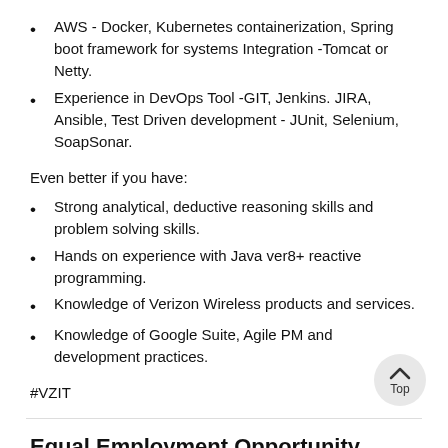AWS - Docker, Kubernetes containerization, Spring boot framework for systems Integration -Tomcat or Netty.
Experience in DevOps Tool -GIT, Jenkins. JIRA, Ansible, Test Driven development - JUnit, Selenium, SoapSonar.
Even better if you have:
Strong analytical, deductive reasoning skills and problem solving skills.
Hands on experience with Java ver8+ reactive programming.
Knowledge of Verizon Wireless products and services.
Knowledge of Google Suite, Agile PM and development practices.
#VZIT
Equal Employment Opportunity
We're proud to be an equal opportunity employer - and celebrate our employees' differences, including race, color